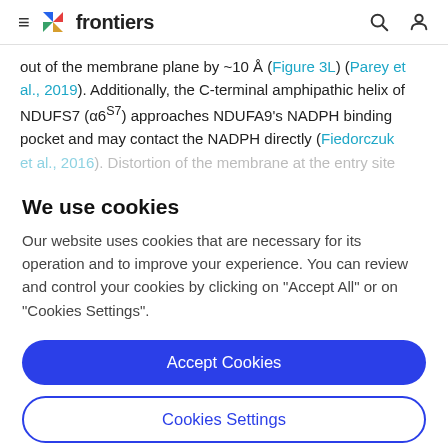frontiers
out of the membrane plane by ~10 A (Figure 3L) (Parey et al., 2019). Additionally, the C-terminal amphipathic helix of NDUFS7 (α6^S7) approaches NDUFA9's NADPH binding pocket and may contact the NADPH directly (Fiedorczuk et al., 2016). Distortion of the membrane at the entry site
We use cookies
Our website uses cookies that are necessary for its operation and to improve your experience. You can review and control your cookies by clicking on "Accept All" or on "Cookies Settings".
Accept Cookies
Cookies Settings